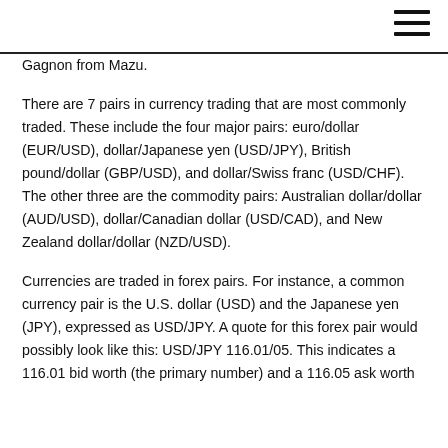Gagnon from Mazu.
There are 7 pairs in currency trading that are most commonly traded. These include the four major pairs: euro/dollar (EUR/USD), dollar/Japanese yen (USD/JPY), British pound/dollar (GBP/USD), and dollar/Swiss franc (USD/CHF). The other three are the commodity pairs: Australian dollar/dollar (AUD/USD), dollar/Canadian dollar (USD/CAD), and New Zealand dollar/dollar (NZD/USD).
Currencies are traded in forex pairs. For instance, a common currency pair is the U.S. dollar (USD) and the Japanese yen (JPY), expressed as USD/JPY. A quote for this forex pair would possibly look like this: USD/JPY 116.01/05. This indicates a 116.01 bid worth (the primary number) and a 116.05 ask worth